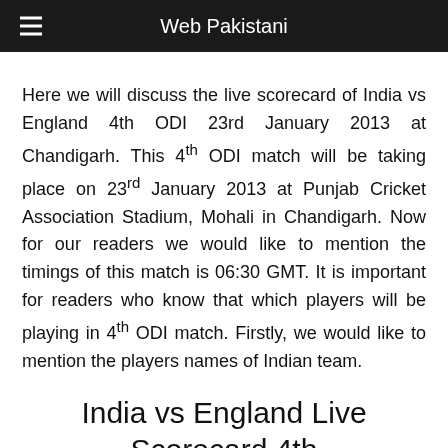Web Pakistani
Here we will discuss the live scorecard of India vs England 4th ODI 23rd January 2013 at Chandigarh. This 4th ODI match will be taking place on 23rd January 2013 at Punjab Cricket Association Stadium, Mohali in Chandigarh. Now for our readers we would like to mention the timings of this match is 06:30 GMT. It is important for readers who know that which players will be playing in 4th ODI match. Firstly, we would like to mention the players names of Indian team.
India vs England Live Scorecard 4th ODI 23rd January 2013 at